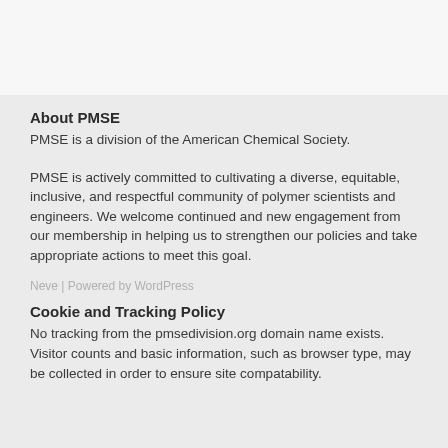About PMSE
PMSE is a division of the American Chemical Society.
PMSE is actively committed to cultivating a diverse, equitable, inclusive, and respectful community of polymer scientists and engineers. We welcome continued and new engagement from our membership in helping us to strengthen our policies and take appropriate actions to meet this goal.
Neve | Powered by WordPress
Cookie and Tracking Policy
No tracking from the pmsedivision.org domain name exists. Visitor counts and basic information, such as browser type, may be collected in order to ensure site compatability.